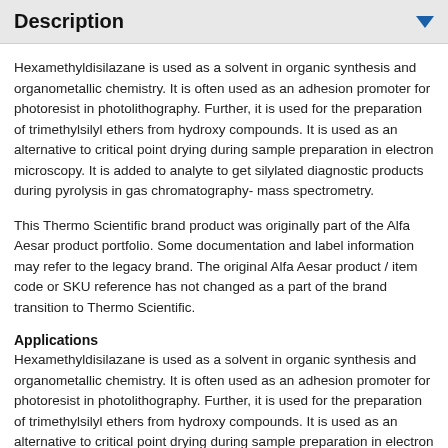Description
Hexamethyldisilazane is used as a solvent in organic synthesis and organometallic chemistry. It is often used as an adhesion promoter for photoresist in photolithography. Further, it is used for the preparation of trimethylsilyl ethers from hydroxy compounds. It is used as an alternative to critical point drying during sample preparation in electron microscopy. It is added to analyte to get silylated diagnostic products during pyrolysis in gas chromatography- mass spectrometry.
This Thermo Scientific brand product was originally part of the Alfa Aesar product portfolio. Some documentation and label information may refer to the legacy brand. The original Alfa Aesar product / item code or SKU reference has not changed as a part of the brand transition to Thermo Scientific.
Applications
Hexamethyldisilazane is used as a solvent in organic synthesis and organometallic chemistry. It is often used as an adhesion promoter for photoresist in photolithography. Further, it is used for the preparation of trimethylsilyl ethers from hydroxy compounds. It is used as an alternative to critical point drying during sample preparation in electron